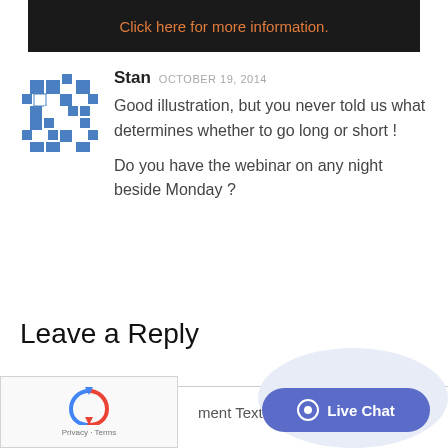[Figure (infographic): Dark banner with orange text: Click here for more information.]
Stan OCTOBER 19, 2014
Good illustration, but you never told us what determines whether to go long or short !

Do you have the webinar on any night beside Monday ?
Leave a Reply
[Figure (other): reCAPTCHA widget with Privacy and Terms links]
ment Text*
[Figure (other): Live Chat button (blue rounded pill) over light blue circle background]